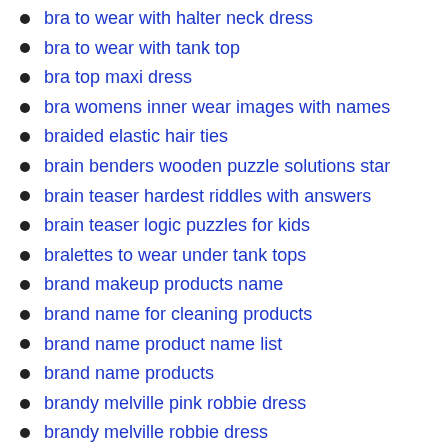bra to wear with halter neck dress
bra to wear with tank top
bra top maxi dress
bra womens inner wear images with names
braided elastic hair ties
brain benders wooden puzzle solutions star
brain teaser hardest riddles with answers
brain teaser logic puzzles for kids
bralettes to wear under tank tops
brand makeup products name
brand name for cleaning products
brand name product name list
brand name products
brandy melville pink robbie dress
brandy melville robbie dress